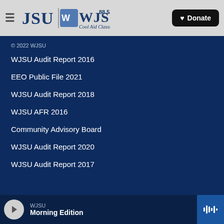[Figure (logo): WJSU 88.5 Cool Aid Classics radio station logo with JSU branding]
© 2022 WJSU
WJSU Audit Report 2016
EEO Public File 2021
WJSU Audit Report 2018
WJSU AFR 2016
Community Advisory Board
WJSU Audit Report 2020
WJSU Audit Report 2017
WJSU Morning Edition